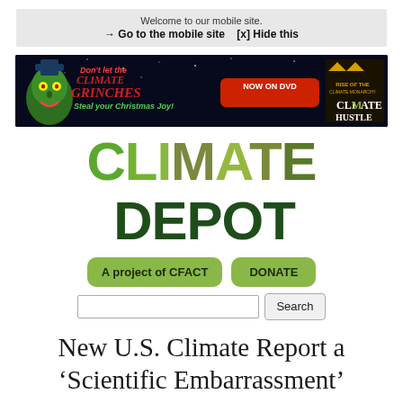Welcome to our mobile site.
→ Go to the mobile site   [x] Hide this
[Figure (illustration): Dark-themed banner advertisement for 'Climate Grinches' DVD with 'NOW ON DVD' button and 'Climate Hustle' movie branding on right]
CLIMATE DEPOT
A project of CFACT   DONATE
Search
New U.S. Climate Report a 'Scientific Embarrassment'